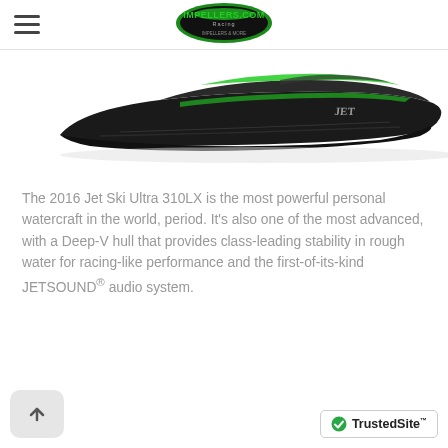Impellers.com Racing (logo)
[Figure (photo): Side view of a black and green Kawasaki Jet Ski Ultra 310LX personal watercraft against a white background]
The 2016 Jet Ski Ultra 310LX is the most powerful personal watercraft in the world, period. It’s also one of the most advanced, with a Deep-V hull that provides class-leading stability in rough water for racing-like performance and the first-of-its-kind JETSOUND® audio system.
[Figure (logo): TrustedSite badge with green checkmark]